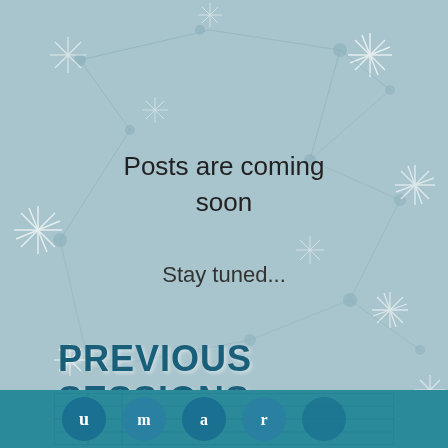[Figure (illustration): Light blue background with white and lighter blue starburst/snowflake decorative patterns scattered across the entire page]
Posts are coming soon
Stay tuned...
PREVIOUS SESSIONS
[Figure (logo): Teal footer bar at the bottom with partial logo showing circular elements and text beginning with H]